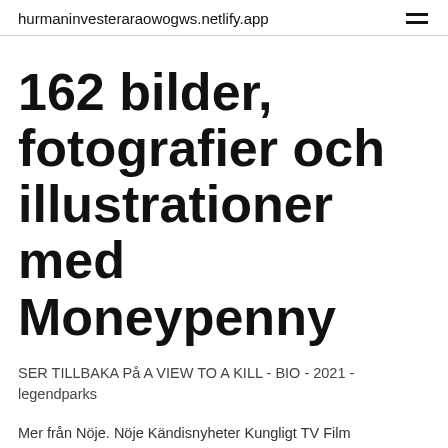hurmaninvesteraraowogws.netlify.app
162 bilder, fotografier och illustrationer med Moneypenny
SER TILLBAKA På A VIEW TO A KILL - BIO - 2021 - legendparks
Mer från Nöje. Nöje Kändisnyheter Kungligt TV Film